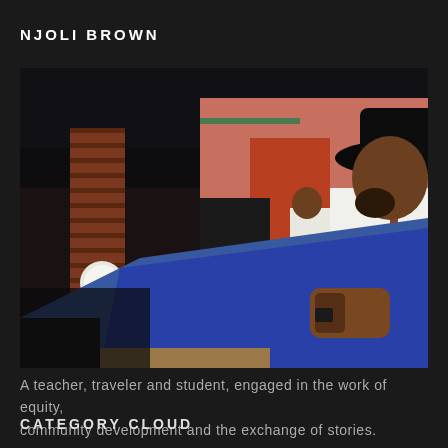NJOLI BROWN
[Figure (photo): A man wearing a black hat and white t-shirt sits in profile view in what appears to be an outdoor cafe or restaurant with brick columns, a pink/terracotta colored wall, round tables, and another person visible in the background near a counter.]
A teacher, traveler and student, engaged in the work of equity, community development and the exchange of stories.
CATEGORY CLOUD